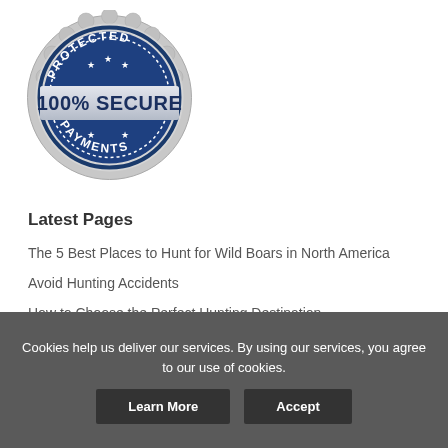[Figure (logo): Blue and silver security badge seal with text 'PROTECTED' at top, '100% SECURE' in large bold text across center banner, and 'PAYMENTS' at bottom. Stars decorating the badge.]
Latest Pages
The 5 Best Places to Hunt for Wild Boars in North America
Avoid Hunting Accidents
How to Choose the Perfect Hunting Destination
How to Get Started Deer Hunting - The Ultimate Guide
Cookies help us deliver our services. By using our services, you agree to our use of cookies.